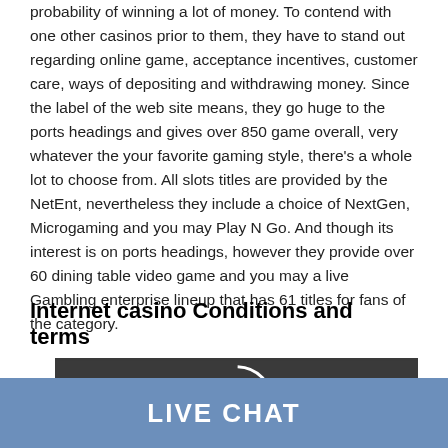probability of winning a lot of money. To contend with one other casinos prior to them, they have to stand out regarding online game, acceptance incentives, customer care, ways of depositing and withdrawing money. Since the label of the web site means, they go huge to the ports headings and gives over 850 game overall, very whatever the your favorite gaming style, there's a whole lot to choose from. All slots titles are provided by the NetEnt, nevertheless they include a choice of NextGen, Microgaming and you may Play N Go. And though its interest is on ports headings, however they provide over 60 dining table video game and you may a live Gambling enterprise lineup that has 61 titles for fans of the category.
Internet casino Conditions and terms
[Figure (photo): Dark background image with a circular arrow/play icon in white]
LIVE CHAT